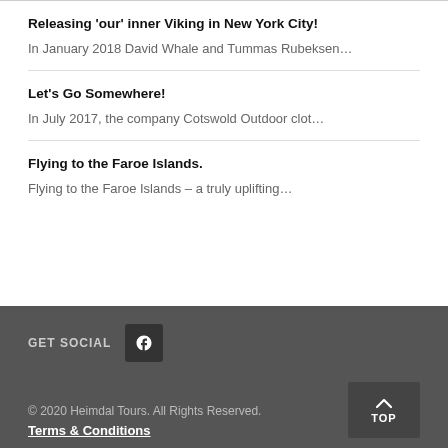Releasing 'our' inner Viking in New York City!
In January 2018 David Whale and Tummas Rubeksen…
Let's Go Somewhere!
In July 2017, the company Cotswold Outdoor clot…
Flying to the Faroe Islands.
Flying to the Faroe Islands – a truly uplifting…
GET SOCIAL
© 2020 Heimdal Tours. All Rights Reserved.
Terms & Conditions
TOP